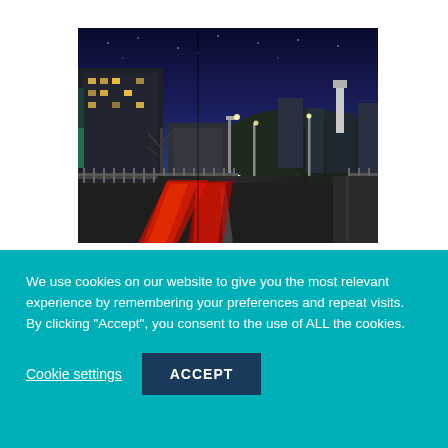[Figure (photo): Night cityscape photo showing a road with car light trails, buildings with lit windows, bare trees, and a city skyline under a deep blue night sky]
We use cookies on our website to give you the most relevant experience by remembering your preferences and repeat visits. By clicking "Accept", you consent to the use of ALL the cookies.
Cookie settings
ACCEPT